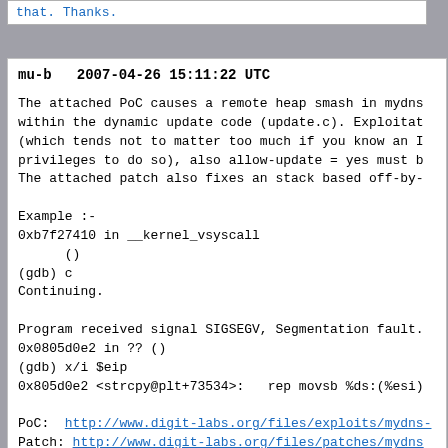that. Thanks.
mu-b   2007-04-26 15:11:22 UTC
The attached PoC causes a remote heap smash in mydns within the dynamic update code (update.c). Exploitation (which tends not to matter too much if you know an IP privileges to do so), also allow-update = yes must be The attached patch also fixes an stack based off-by-o

Example :-
0xb7f27410 in __kernel_vsyscall
      ()
(gdb) c
Continuing.

Program received signal SIGSEGV, Segmentation fault.
0x0805d0e2 in ?? ()
(gdb) x/i $eip
0x805d0e2 <strcpy@plt+73534>:   rep movsb %ds:(%esi)
PoC: http://www.digit-labs.org/files/exploits/mydns-
Patch: http://www.digit-labs.org/files/patches/mydns
Reproducible: Always
Steps to Reproduce: